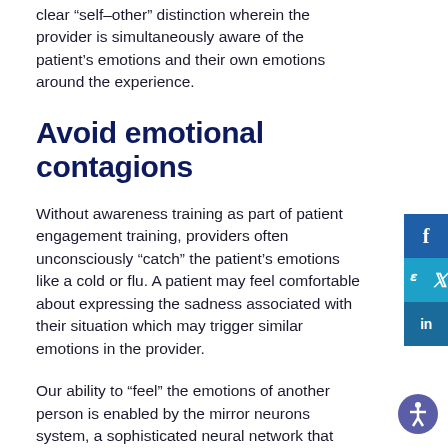clear “self-other” distinction wherein the provider is simultaneously aware of the patient’s emotions and their own emotions around the experience.
Avoid emotional contagions
Without awareness training as part of patient engagement training, providers often unconsciously “catch” the patient’s emotions like a cold or flu. A patient may feel comfortable about expressing the sadness associated with their situation which may trigger similar emotions in the provider.
Our ability to “feel” the emotions of another person is enabled by the mirror neurons system, a sophisticated neural network that reproduces the emotional state of another. For example, it’s hard not to laugh when